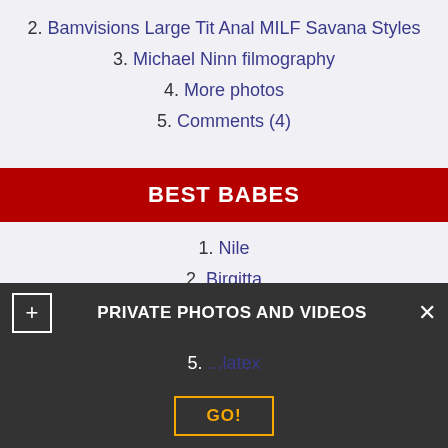2. Bamvisions Large Tit Anal MILF Savana Styles
3. Michael Ninn filmography
4. More photos
5. Comments (4)
BEST BABES
1. Nile
2. Birgitta
3. Margo
4. Maratta
5. Victoria
5 TOP VIDEOS
1. Fernanda ferrari latex
2. Girl in latex
3. Oferta de sol damen de klex (truncated)
5. (partially visible) latex
PRIVATE PHOTOS AND VIDEOS